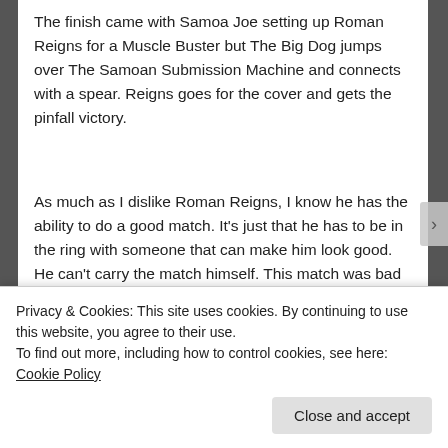The finish came with Samoa Joe setting up Roman Reigns for a Muscle Buster but The Big Dog jumps over The Samoan Submission Machine and connects with a spear. Reigns goes for the cover and gets the pinfall victory.
As much as I dislike Roman Reigns, I know he has the ability to do a good match. It’s just that he has to be in the ring with someone that can make him look good. He can’t carry the match himself. This match was bad as it looks like Samoa Joe doesn’t compliment Reign’s style. Bottom line: this was a stinker overall.
[Figure (photo): Partial image strip showing colorful image content cut off at the bottom of the page]
Privacy & Cookies: This site uses cookies. By continuing to use this website, you agree to their use.
To find out more, including how to control cookies, see here: Cookie Policy